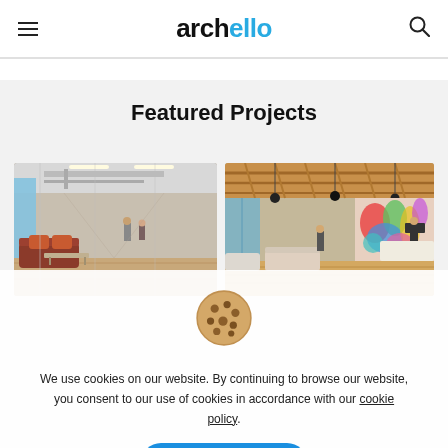archello
Featured Projects
[Figure (photo): Modern open-plan office interior with large windows, exposed ceiling ducts, and lounge seating with orange and brown sofas]
[Figure (photo): Modern office interior with wooden lattice ceiling, colorful mural wall, and collaborative seating areas]
[Figure (illustration): Cookie icon - round beige cookie with chocolate chip dots]
We use cookies on our website. By continuing to browse our website, you consent to our use of cookies in accordance with our cookie policy.
I Accept